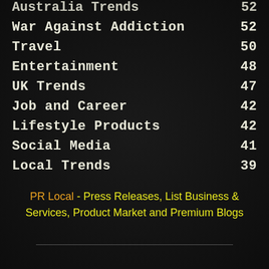Australia Trends 52
War Against Addiction 52
Travel 50
Entertainment 48
UK Trends 47
Job and Career 42
Lifestyle Products 42
Social Media 41
Local Trends 39
PR Local - Press Releases, List Business & Services, Product Market and Premium Blogs